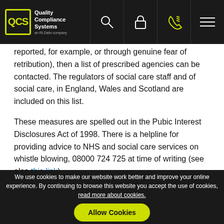QCS Quality Compliance Systems
reported, for example, or through genuine fear of retribution), then a list of prescribed agencies can be contacted. The regulators of social care staff and of social care, in England, Wales and Scotland are included on this list.
These measures are spelled out in the Pubic Interest Disclosures Act of 1998. There is a helpline for providing advice to NHS and social care services on whistle blowing, 08000 724 725 at time of writing (see also this link).
Providing the disclosure is carried out according to procedures and government guidance, and is made in
We use cookies to make our website work better and improve your online experience. By continuing to browse this website you accept the use of cookies, read more about cookies. Allow Cookies